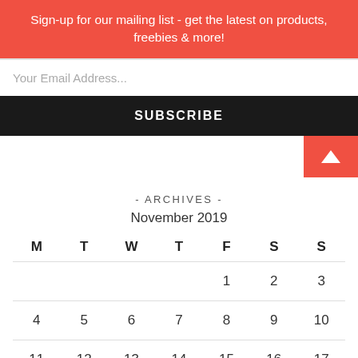Sign-up for our mailing list - get the latest on products, freebies & more!
Your Email Address...
SUBSCRIBE
- ARCHIVES -
November 2019
| M | T | W | T | F | S | S |
| --- | --- | --- | --- | --- | --- | --- |
|  |  |  |  | 1 | 2 | 3 |
| 4 | 5 | 6 | 7 | 8 | 9 | 10 |
| 11 | 12 | 13 | 14 | 15 | 16 | 17 |